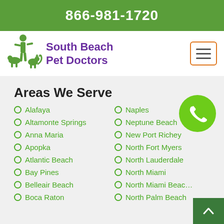866-981-1720
[Figure (logo): South Beach Pet Doctors logo with green figure walking dog and cat]
Areas We Serve
Alafaya
Altamonte Springs
Anna Maria
Apopka
Atlantic Beach
Bay Pines
Belleair Beach
Boca Raton
Naples
Neptune Beach
New Port Richey
North Fort Myers
North Lauderdale
North Miami
North Miami Beach
North Palm Beach